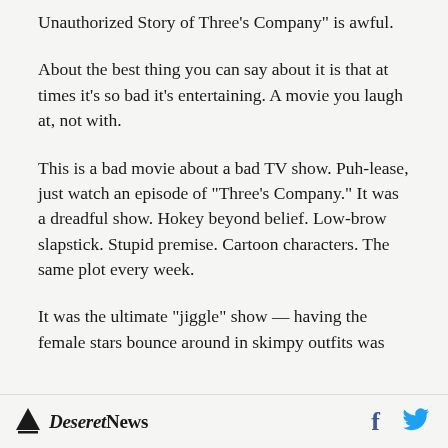Unauthorized Story of Three's Company" is awful.
About the best thing you can say about it is that at times it's so bad it's entertaining. A movie you laugh at, not with.
This is a bad movie about a bad TV show. Puh-lease, just watch an episode of "Three's Company." It was a dreadful show. Hokey beyond belief. Low-brow slapstick. Stupid premise. Cartoon characters. The same plot every week.
It was the ultimate "jiggle" show — having the female stars bounce around in skimpy outfits was
Deseret News